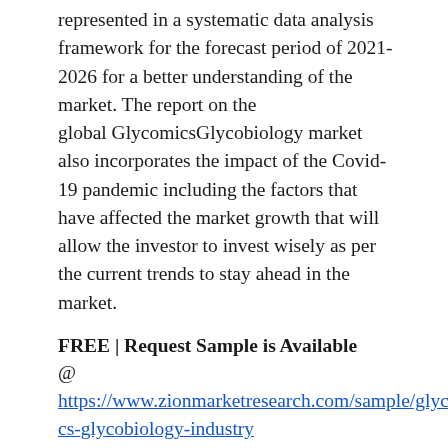represented in a systematic data analysis framework for the forecast period of 2021-2026 for a better understanding of the market. The report on the global GlycomicsGlycobiology market also incorporates the impact of the Covid-19 pandemic including the factors that have affected the market growth that will allow the investor to invest wisely as per the current trends to stay ahead in the market.
FREE | Request Sample is Available
@ https://www.zionmarketresearch.com/sample/glycomics-glycobiology-industry
The global data in the report on the global GlycomicsGlycobiology market is categorized by key players Agilent Technologies, Bruker, Danaher, Merck KGaA, New England Biolabs, ProZyme, Shimadzu